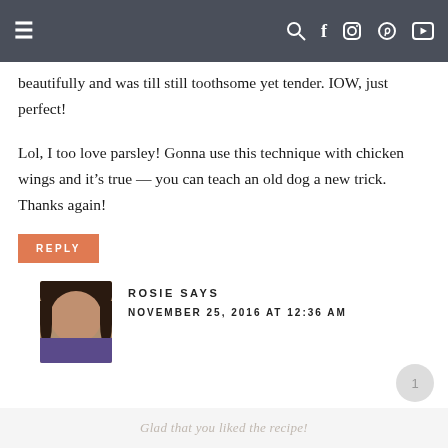≡   🔍 f 📷 ℗ ▶
beautifully and was till still toothsome yet tender. IOW, just perfect!
Lol, I too love parsley! Gonna use this technique with chicken wings and it's true — you can teach an old dog a new trick. Thanks again!
REPLY
ROSIE SAYS
NOVEMBER 25, 2016 AT 12:36 AM
Glad that you liked the recipe!